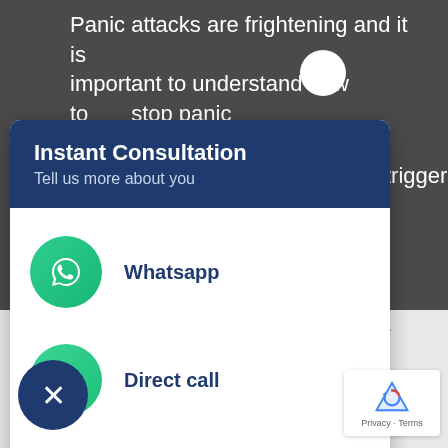Panic attacks are frightening and it is important to understand how to stop panic
triggers
Instant Consultation
Tell us more about you
Whatsapp
Direct call
Call Me Back
blished.
[Figure (screenshot): Close (X) button, dark navy circle]